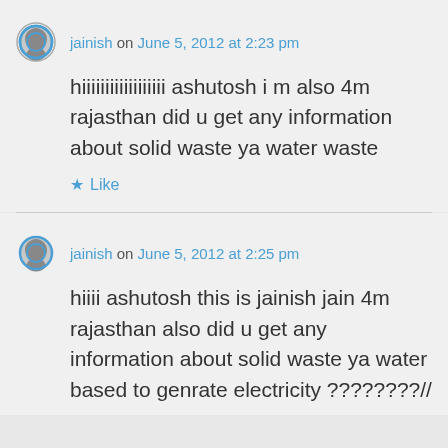jainish on June 5, 2012 at 2:23 pm
hiiiiiiiiiiiiiiiiii ashutosh i m also 4m rajasthan did u get any information about solid waste ya water waste
Like
jainish on June 5, 2012 at 2:25 pm
hiiii ashutosh this is jainish jain 4m rajasthan also did u get any information about solid waste ya water based to genrate electricity ????????//